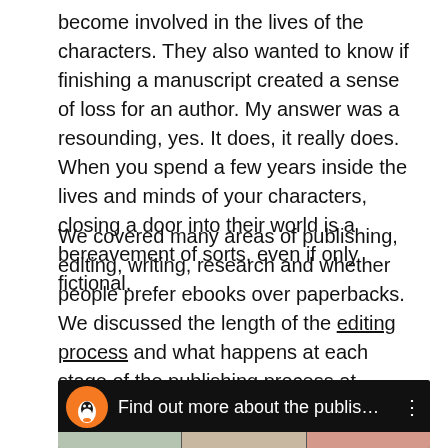become involved in the lives of the characters. They also wanted to know if finishing a manuscript created a sense of loss for an author. My answer was a resounding, yes. It does, it really does. When you spend a few years inside the lives and minds of your characters, closing a door into their world is a bereavement of sorts, even if only fictional.
We covered many areas of publishing, editing, writing, research and whether people prefer ebooks over paperbacks. We discussed the length of the editing process and what happens at each stage of the publishing process at Random House. From an initial idea to the final product, it takes roughly a year to create a book.
[Figure (screenshot): YouTube video thumbnail with Penguin Books logo (orange circle with white penguin) on dark background, title text 'Find out more about the publishi...' in white, and a strip of book cover images below.]